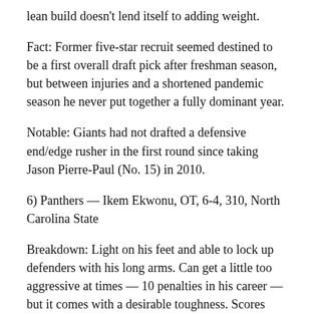lean build doesn't lend itself to adding weight.
Fact: Former five-star recruit seemed destined to be a first overall draft pick after freshman season, but between injuries and a shortened pandemic season he never put together a fully dominant year.
Notable: Giants had not drafted a defensive end/edge rusher in the first round since taking Jason Pierre-Paul (No. 15) in 2010.
6) Panthers — Ikem Ekwonu, OT, 6-4, 310, North Carolina State
Breakdown: Light on his feet and able to lock up defenders with his long arms. Can get a little too aggressive at times — 10 penalties in his career — but it comes with a desirable toughness. Scores high marks for leadership and likability off the field.
Fact: Nicknamed Ickey after former Bengals running